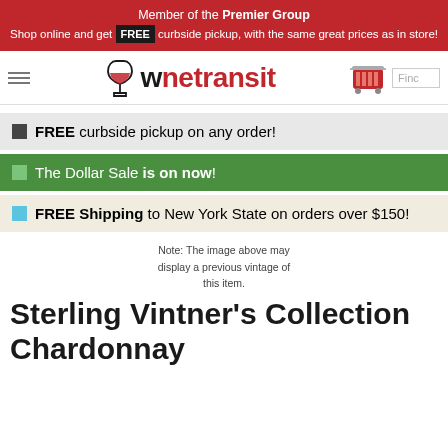Member of the Premier Group
Shop online and get FREE curbside pickup, with the same great prices as in store!
[Figure (logo): Wine Transit logo with wine glass icon and navigation bar with hamburger menu and cart icon]
FREE curbside pickup on any order!
The Dollar Sale is on now!
FREE Shipping to New York State on orders over $150!
Note: The image above may display a previous vintage of this item.
Sterling Vintner's Collection Chardonnay